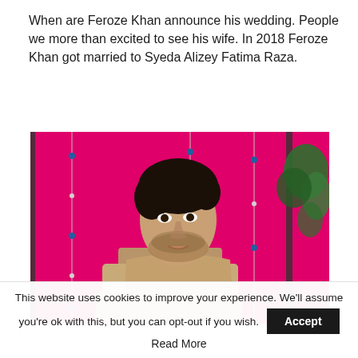When are Feroze Khan announce his wedding. People we more than excited to see his wife. In 2018 Feroze Khan got married to Syeda Alizey Fatima Raza.
[Figure (photo): A young South Asian man with dark hair wearing a light olive/tan kurta with a matching dupatta/scarf wrapped around his neck, arms crossed, looking to his left. The background features a bright pink/magenta fabric backdrop with decorative hanging beaded strings and some green foliage visible on the right side.]
This website uses cookies to improve your experience. We'll assume you're ok with this, but you can opt-out if you wish. Accept Read More